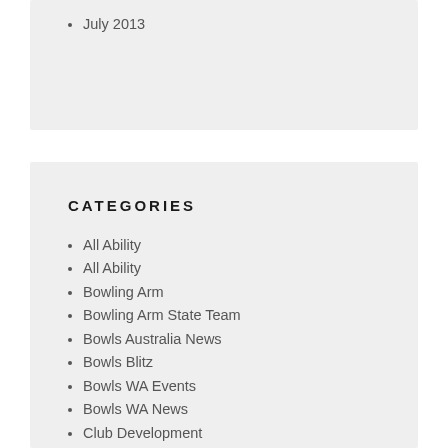July 2013
CATEGORIES
All Ability
All Ability
Bowling Arm
Bowling Arm State Team
Bowls Australia News
Bowls Blitz
Bowls WA Events
Bowls WA News
Club Development
Club News
Coach Courses
Country Events
Country News